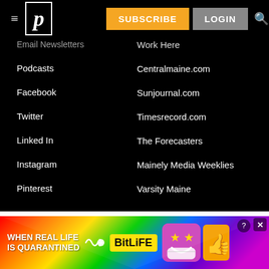P | SUBSCRIBE | LOGIN
Email Newsletters
Work Here
Podcasts
Centralmaine.com
Facebook
Sunjournal.com
Twitter
Timesrecord.com
Linked In
The Forecasters
Instagram
Mainely Media Weeklies
Pinterest
Varsity Maine
[Figure (screenshot): BitLife advertisement banner: rainbow gradient background with text 'WHEN REAL LIFE IS QUARANTINED' and BitLife logo with emoji character]